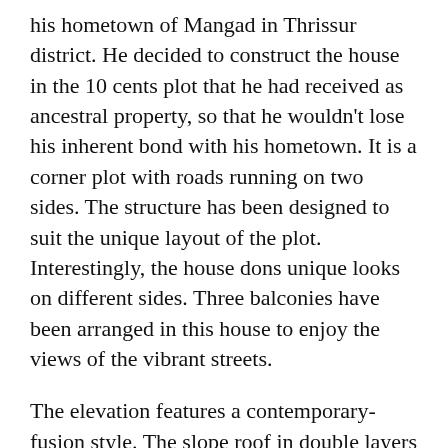his hometown of Mangad in Thrissur district. He decided to construct the house in the 10 cents plot that he had received as ancestral property, so that he wouldn't lose his inherent bond with his hometown. It is a corner plot with roads running on two sides. The structure has been designed to suit the unique layout of the plot. Interestingly, the house dons unique looks on different sides. Three balconies have been arranged in this house to enjoy the views of the vibrant streets.
The elevation features a contemporary-fusion style. The slope roof in double layers has been paved with roofing tiles. Grey coloured natural cladding stones have been used to decorate the double-height wall in the elevation. Besides breaking the monotony of the lighter shades, this designer wall grants a chic look to